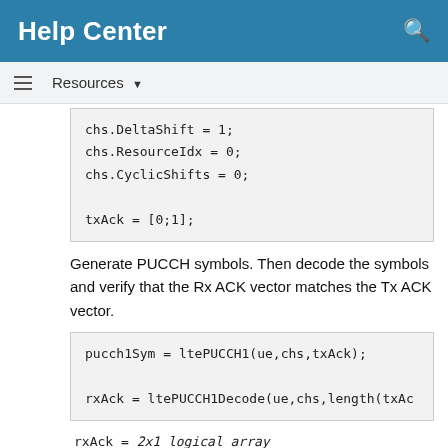Help Center
Resources ▼
chs.DeltaShift = 1;
chs.ResourceIdx = 0;
chs.CyclicShifts = 0;

txAck = [0;1];
Generate PUCCH symbols. Then decode the symbols and verify that the Rx ACK vector matches the Tx ACK vector.
pucch1Sym = ltePUCCH1(ue,chs,txAck);

rxAck = ltePUCCH1Decode(ue,chs,length(txAc
rxAck = 2x1 logical array

   0
   1